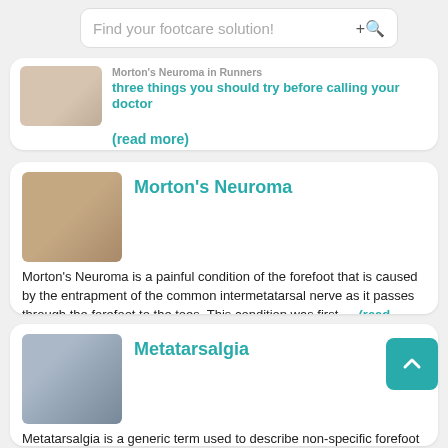Find your footcare solution!
[Figure (photo): Hand with white round pad/insole]
Morton's Neuroma in Runners three things you should try before calling your doctor
(read more)
[Figure (photo): Close-up photo of foot/toes]
Morton's Neuroma
Morton's Neuroma is a painful condition of the forefoot that is caused by the entrapment of the common intermetatarsal nerve as it passes through the forefoot to the toes. This condition was first...  (read more)
[Figure (photo): X-ray image of foot bones]
Metatarsalgia
Metatarsalgia is a generic term used to describe non-specific forefoot pain in the region of the metatarsal bones. Most clinicians agree that metatarsalgia is actually pain from the metatarsal bones that... (read more)